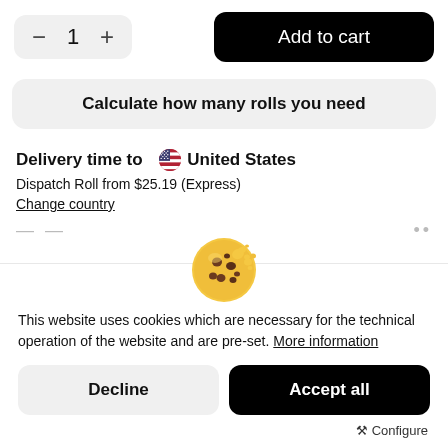[Figure (screenshot): Quantity selector showing minus, 1, plus buttons in grey rounded box]
[Figure (screenshot): Add to cart button, black rounded rectangle]
Calculate how many rolls you need
Delivery time to 🇺🇸 United States
Dispatch Roll from $25.19 (Express)
Change country
[Figure (illustration): Cookie emoji illustration — round chocolate chip cookie]
This website uses cookies which are necessary for the technical operation of the website and are pre-set. More information
Decline
Accept all
⚒ Configure